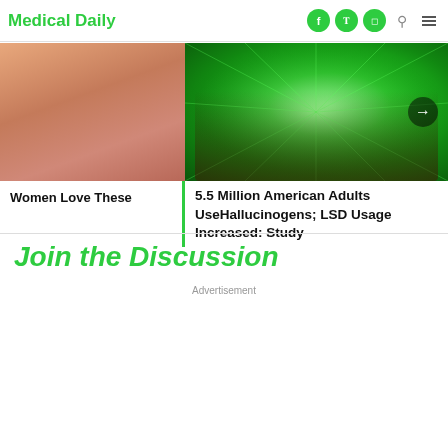Medical Daily
[Figure (photo): Left: close-up of skin tones (pinkish-tan). Right: green radial burst background with a hand holding a red pill/capsule, with a dark right-arrow navigation button overlay.]
Women Love These
5.5 Million American Adults UseHallucinogens; LSD Usage Increased: Study
Join the Discussion
Advertisement